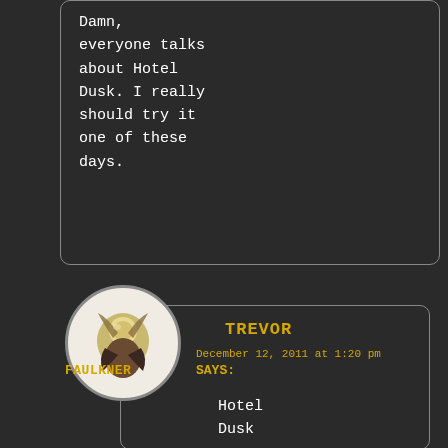Damn, everyone talks about Hotel Dusk. I really should try it one of these days.
[Figure (photo): Circular avatar image of Trevor Faulkner showing an illustrated/stylized figure with dark background tones]
TREVOR
FAULKNER
December 12, 2011 at 1:20 pm
SAYS:
Hotel Dusk